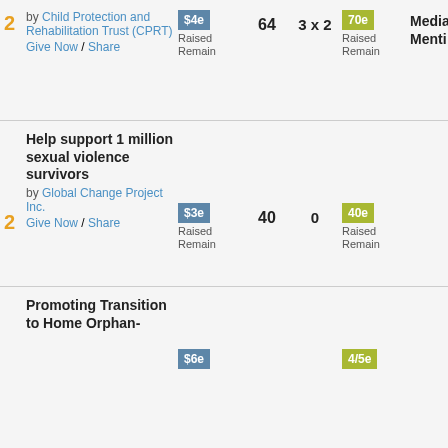2 by Child Protection and Rehabilitation Trust (CPRT) Give Now / Share | $4e Raised Remain | 64 | 3 x 2 | 70e Raised Remain | Media Menti
2 Help support 1 million sexual violence survivors by Global Change Project Inc. Give Now / Share | $3e Raised Remain | 40 | 0 | 40e Raised Remain
Promoting Transition to Home Orphan- | $6e | 4/5e